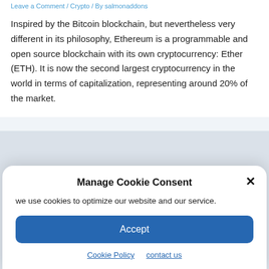Leave a Comment / Crypto / By salmonaddons
Inspired by the Bitcoin blockchain, but nevertheless very different in its philosophy, Ethereum is a programmable and open source blockchain with its own cryptocurrency: Ether (ETH). It is now the second largest cryptocurrency in the world in terms of capitalization, representing around 20% of the market.
Manage Cookie Consent
we use cookies to optimize our website and our service.
Accept
Cookie Policy   contact us